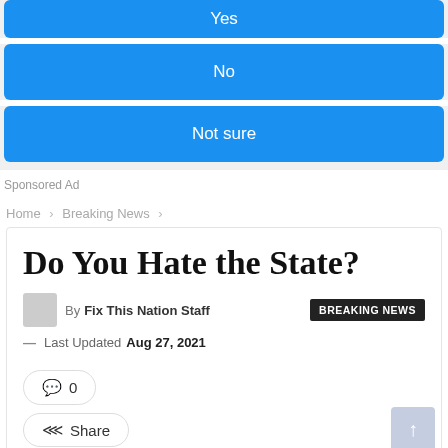[Figure (other): Blue poll button labeled 'Yes' (partially visible at top)]
[Figure (other): Blue poll button labeled 'No']
[Figure (other): Blue poll button labeled 'Not sure']
Sponsored Ad
Home > Breaking News >
Do You Hate the State?
By Fix This Nation Staff   BREAKING NEWS
— Last Updated Aug 27, 2021
0
Share